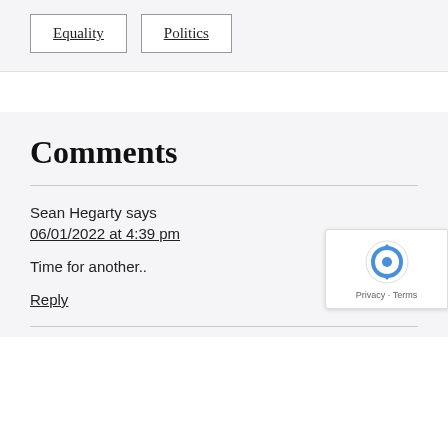Equality
Politics
Comments
Sean Hegarty says
06/01/2022 at 4:39 pm
Time for another..
Reply